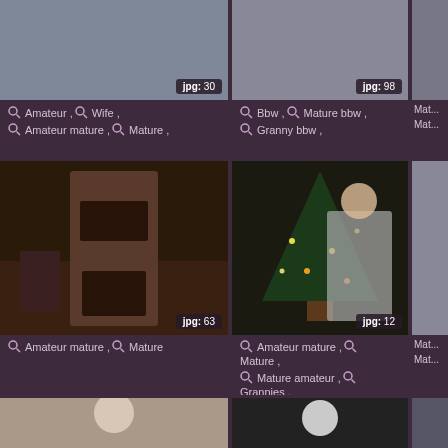[Figure (photo): Thumbnail photo top left with jpg:30 badge]
[Figure (photo): Thumbnail photo top center with jpg:98 badge]
[Figure (photo): Thumbnail photo top right, partially cropped]
Amateur , Wife , Amateur mature , Mature ,
Bbw , Mature bbw , Granny bbw ,
Mat... Mat...
[Figure (photo): Woman in lingerie standing in room, jpg:63 badge]
[Figure (photo): Older woman standing near Christmas tree, jpg:12 badge]
[Figure (photo): Right column middle image partially cropped]
Amateur mature , Mature
Amateur mature , Mature , Mature amateur , Grannies ,
Mat... Mat...
[Figure (photo): Older blonde woman face close-up, bottom left]
[Figure (photo): White-haired person bottom center]
[Figure (photo): Bottom right partially cropped image]